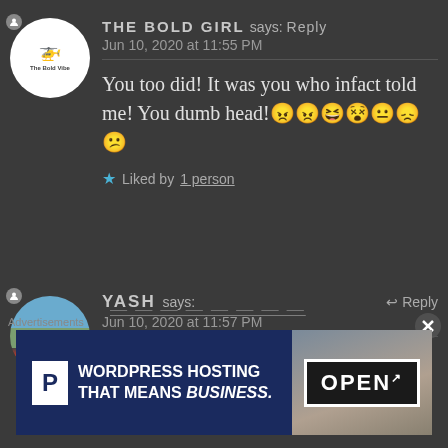THE BOLD GIRL says: Reply
Jun 10, 2020 at 11:55 PM
You too did! It was you who infact told me! You dumb head!😠😠😆😵😐😞😕
★ Liked by 1 person
YASH says: Reply
Jun 10, 2020 at 11:57 PM
Advertisements
[Figure (screenshot): WordPress Hosting advertisement banner with P logo, text 'WORDPRESS HOSTING THAT MEANS BUSINESS.' and an OPEN sign photo]